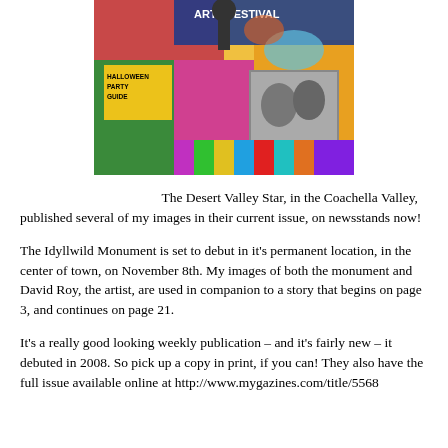[Figure (photo): Magazine cover showing an Arts Festival issue of Desert Valley Star with colorful artwork, a Halloween Party Guide section, and a black-and-white photo inset]
The Desert Valley Star, in the Coachella Valley, published several of my images in their current issue, on newsstands now!
The Idyllwild Monument is set to debut in it's permanent location, in the center of town, on November 8th. My images of both the monument and David Roy, the artist, are used in companion to a story that begins on page 3, and continues on page 21.
It's a really good looking weekly publication – and it's fairly new – it debuted in 2008. So pick up a copy in print, if you can! They also have the full issue available online at http://www.mygazines.com/title/5568